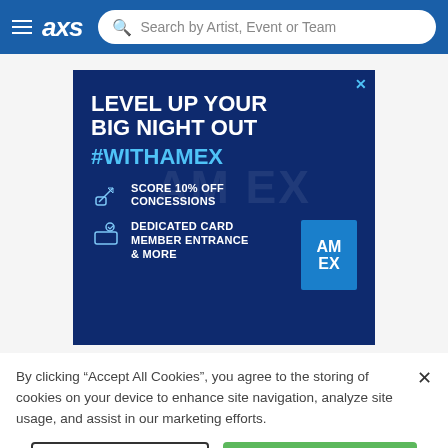[Figure (screenshot): AXS website navigation bar with hamburger menu, AXS logo, and search bar reading 'Search by Artist, Event or Team']
[Figure (screenshot): Advertisement banner for American Express: 'LEVEL UP YOUR BIG NIGHT OUT #WITHAMEX' with offers: 'SCORE 10% OFF CONCESSIONS' and 'DEDICATED CARD MEMBER ENTRANCE & MORE', with American Express logo partially visible on right]
By clicking "Accept All Cookies", you agree to the storing of cookies on your device to enhance site navigation, analyze site usage, and assist in our marketing efforts.
Cookies Settings
Accept All Cookies